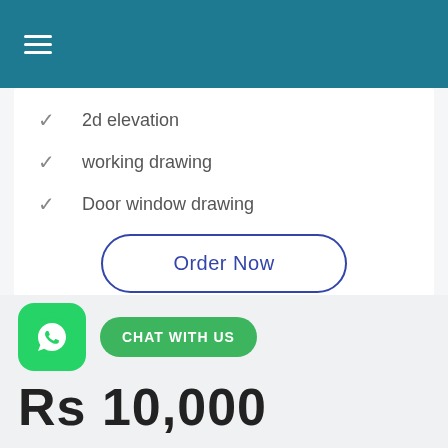≡
2d elevation
working drawing
Door window drawing
Order Now
[Figure (logo): WhatsApp logo icon on green rounded square background]
CHAT WITH US
Rs 10,000